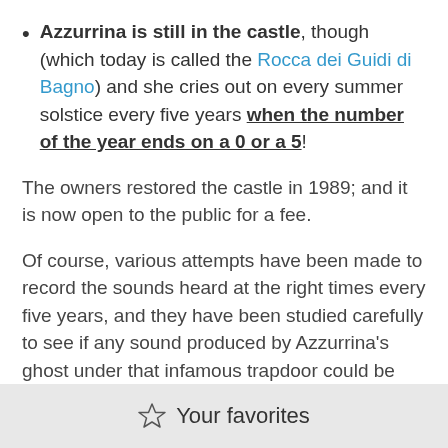Azzurrina is still in the castle, though (which today is called the Rocca dei Guidi di Bagno) and she cries out on every summer solstice every five years when the number of the year ends on a 0 or a 5!
The owners restored the castle in 1989; and it is now open to the public for a fee.
Of course, various attempts have been made to record the sounds heard at the right times every five years, and they have been studied carefully to see if any sound produced by Azzurrina's ghost under that infamous trapdoor could be discerned.
Your favorites